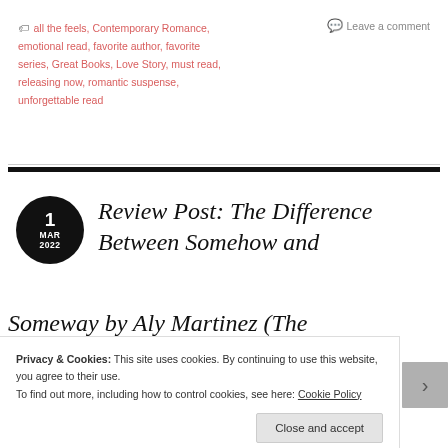all the feels, Contemporary Romance, emotional read, favorite author, favorite series, Great Books, Love Story, must read, releasing now, romantic suspense, unforgettable read
Leave a comment
Review Post: The Difference Between Somehow and Someway by Aly Martinez (The
Privacy & Cookies: This site uses cookies. By continuing to use this website, you agree to their use. To find out more, including how to control cookies, see here: Cookie Policy
Close and accept